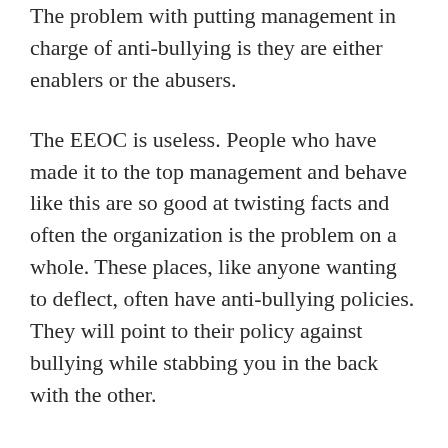The problem with putting management in charge of anti-bullying is they are either enablers or the abusers.
The EEOC is useless. People who have made it to the top management and behave like this are so good at twisting facts and often the organization is the problem on a whole. These places, like anyone wanting to deflect, often have anti-bullying policies. They will point to their policy against bullying while stabbing you in the back with the other.
Many other countries have laws that protect everyone, but when there is little or no enforcement, what good is